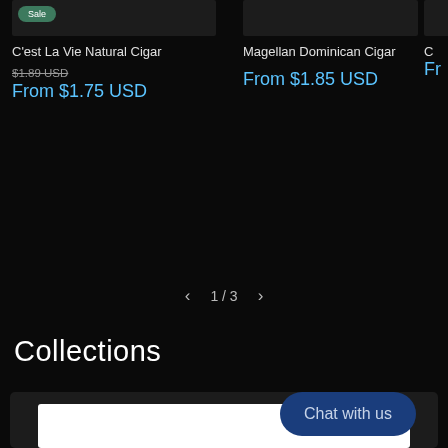[Figure (screenshot): Product listing card for C'est La Vie Natural Cigar with Sale badge, showing original price $1.89 USD struck through and sale price From $1.75 USD]
C'est La Vie Natural Cigar
$1.89 USD
From $1.75 USD
Magellan Dominican Cigar
From $1.85 USD
C
Fr
1 / 3
Collections
[Figure (screenshot): White card area within dark collections section, with a Chat with us button overlay]
Chat with us